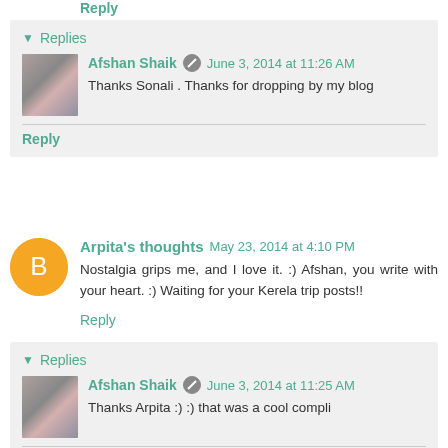Reply
Replies
Afshan Shaik  June 3, 2014 at 11:26 AM
Thanks Sonali . Thanks for dropping by my blog
Reply
Arpita's thoughts  May 23, 2014 at 4:10 PM
Nostalgia grips me, and I love it. :) Afshan, you write with your heart. :) Waiting for your Kerela trip posts!!
Reply
Replies
Afshan Shaik  June 3, 2014 at 11:25 AM
Thanks Arpita :) :) that was a cool compli
Reply